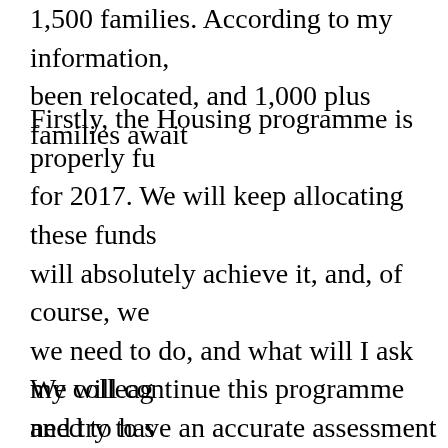1,500 families. According to my information, been relocated, and 1,000 plus families await
Firstly, the Housing programme is properly fu for 2017. We will keep allocating these funds will absolutely achieve it, and, of course, we we need to do, and what will I ask my colleag need to have an accurate assessment of the sc many people need to be relocated. One and a an understatement, I think. We should avoid t area where we originally had 9,000 families a as if out of nowhere. The funds must be set as sure we have accurate estimates of the numbe and support.
We will continue this programme and try to s the funds have been allocated.